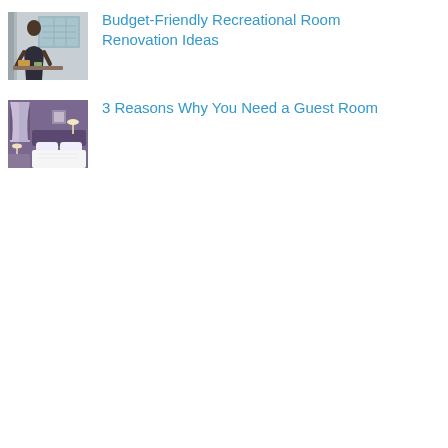[Figure (photo): Thumbnail photo of a person in a room working on a craft or map project]
Budget-Friendly Recreational Room Renovation Ideas
[Figure (photo): Thumbnail photo of a hotel-style guest room with purple walls and white bedding]
3 Reasons Why You Need a Guest Room